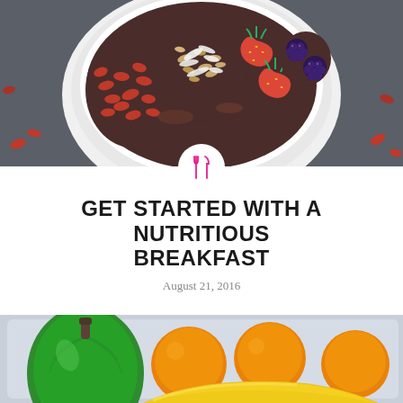[Figure (photo): Overhead view of a white bowl filled with goji berries, granola, coconut flakes, strawberries, and blackberries on a dark slate surface]
[Figure (illustration): Pink/red fork and knife icon inside a white circle]
GET STARTED WITH A NUTRITIOUS BREAKFAST
August 21, 2016
[Figure (photo): Close-up of a white rectangular container holding a green bell pepper, oranges/lemons, and bananas]